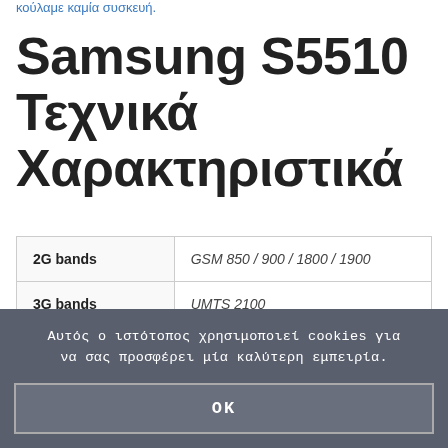κούλαμε καμία συσκευή.
Samsung S5510 Τεχνικά Χαρακτηριστικά
|  |  |
| --- | --- |
| 2G bands | GSM 850 / 900 / 1800 / 1900 |
| 3G bands | UMTS 2100 |
|  |  |
Αυτός ο ιστότοπος χρησιμοποιεί cookies για να σας προσφέρει μία καλύτερη εμπειρία.
OK